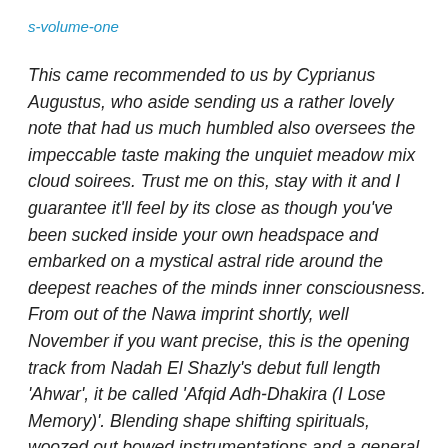s-volume-one
This came recommended to us by Cyprianus Augustus, who aside sending us a rather lovely note that had us much humbled also oversees the impeccable taste making the unquiet meadow mix cloud soirees. Trust me on this, stay with it and I guarantee it'll feel by its close as though you've been sucked inside your own headspace and embarked on a mystical astral ride around the deepest reaches of the minds inner consciousness. From out of the Nawa imprint shortly, well November if you want precise, this is the opening track from Nadah El Shazly's debut full length 'Ahwar', it be called 'Afqid Adh-Dhakira (I Lose Memory)'. Blending shape shifting spirituals, woozed out bowed instrumentations and a general all-around bewitching freakiness, what emerges from the hazily haloed horizon is the sort of aurora to leave you